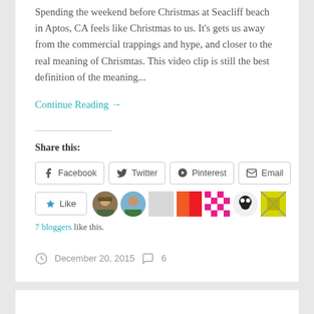Spending the weekend before Christmas at Seacliff beach in Aptos, CA feels like Christmas to us. It's gets us away from the commercial trappings and hype, and closer to the real meaning of Chrismtas. This video clip is still the best definition of the meaning...
Continue Reading →
Share this:
Facebook  Twitter  Pinterest  Email
Like
7 bloggers like this.
December 20, 2015  6